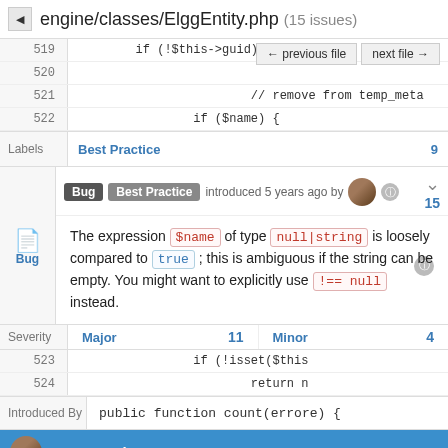engine/classes/ElggEntity.php (15 issues)
519   if (!$this->guid) {
520
521   // remove from temp_meta
522   if ($name) {
← previous file   next file →
Best Practice   9
Bug   Best Practice   introduced 5 years ago by   [avatar]   [info]   15
The expression $name of type null|string is loosely compared to true; this is ambiguous if the string can be empty. You might want to explicitly use !== null instead.
Severity
Major   11
Minor   4
523   if (!isset($this
524   return n
Introduced By
Jeroen Dalsem   5
public function count(errore) {
Evan Winslow   3